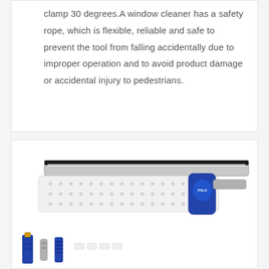clamp 30 degrees.A window cleaner has a safety rope, which is flexible, reliable and safe to prevent the tool from falling accidentally due to improper operation and to avoid product damage or accidental injury to pedestrians.
[Figure (photo): Product photo of a window cleaner/squeegee tool with a white microfiber scrubber pad and silver/blue handle, along with component parts including a blue handle grip, metal extension pole connectors, and small white clips/hooks shown below.]